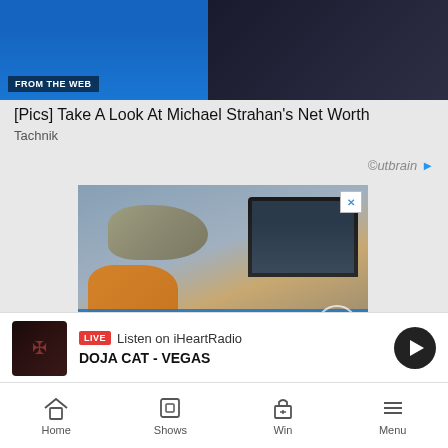[Figure (photo): Screenshot of a mobile webpage showing a 'FROM THE WEB' sponsored content section with an image of two men, one in a blue shirt and one in a suit]
[Pics] Take A Look At Michael Strahan's Net Worth
Tachnik
[Figure (logo): Outbrain logo with circular icon and arrow]
[Figure (photo): Advertisement banner showing a person in orange/yellow top petting a cat on a laptop keyboard, with text overlay 'Tell us what you think of your video' and a newspaper herald logo]
LIVE Listen on iHeartRadio
DOJA CAT - VEGAS
Home
Shows
Win
Menu